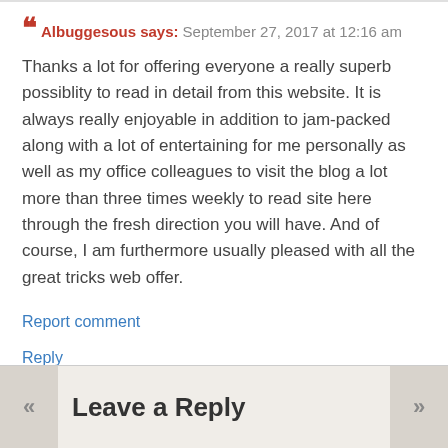Albuggesous says: September 27, 2017 at 12:16 am
Thanks a lot for offering everyone a really superb possiblity to read in detail from this website. It is always really enjoyable in addition to jam-packed along with a lot of entertaining for me personally as well as my office colleagues to visit the blog a lot more than three times weekly to read site here through the fresh direction you will have. And of course, I am furthermore usually pleased with all the great tricks web offer.
Report comment
Reply
Leave a Reply